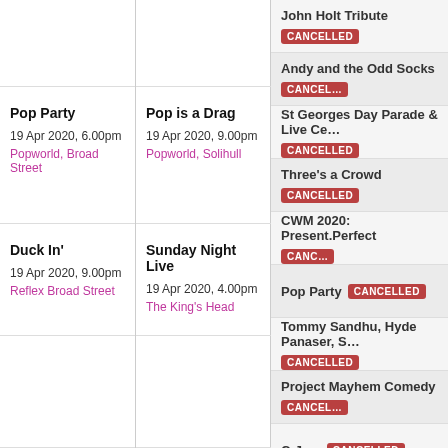John Holt Tribute CANCELLED
Andy and the Odd Socks CANCELLED
St Georges Day Parade & Live Ce... CANCELLED
Three's a Crowd CANCELLED
Pop Party
19 Apr 2020, 6.00pm
Popworld, Broad Street
Pop is a Drag
19 Apr 2020, 9.00pm
Popworld, Solihull
CWM 2020: Present.Perfect CANCELLED
Pop Party CANCELLED
Tommy Sandhu, Hyde Panaser, S... CANCELLED
Duck In'
19 Apr 2020, 9.00pm
Reflex Broad Street
Sunday Night Live
19 Apr 2020, 4.00pm
The King's Head
Project Mayhem Comedy CANCELLED
C-Jam CANCELLED
St Georges Day Parade CANCELLED
Live Music Moseley CANCELLED
Romeo And Juliet CANCELLED